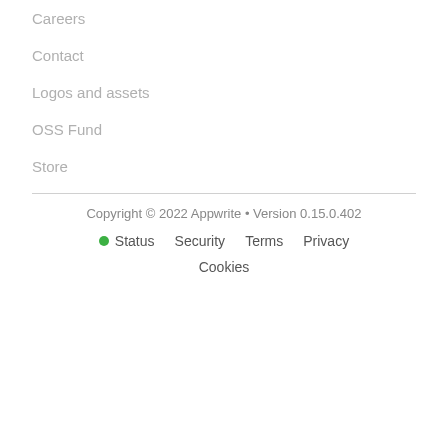Careers
Contact
Logos and assets
OSS Fund
Store
Copyright © 2022 Appwrite • Version 0.15.0.402
Status  Security  Terms  Privacy  Cookies